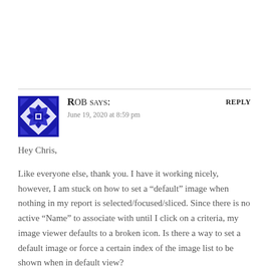ROB says:
June 19, 2020 at 8:59 pm
REPLY
Hey Chris,
Like everyone else, thank you. I have it working nicely, however, I am stuck on how to set a “default” image when nothing in my report is selected/focused/sliced. Since there is no active “Name” to associate with until I click on a criteria, my image viewer defaults to a broken icon. Is there a way to set a default image or force a certain index of the image list to be shown when in default view?
Like